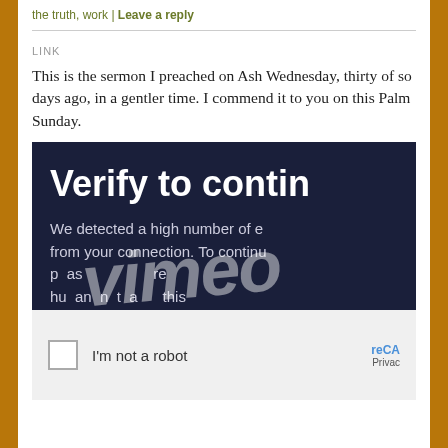the truth, work | Leave a reply
LINK
This is the sermon I preached on Ash Wednesday, thirty of so days ago, in a gentler time. I commend it to you on this Palm Sunday.
[Figure (screenshot): Screenshot of a Vimeo 'Verify to continue' page with reCAPTCHA 'I'm not a robot' checkbox, overlaid with a large Vimeo watermark logo]